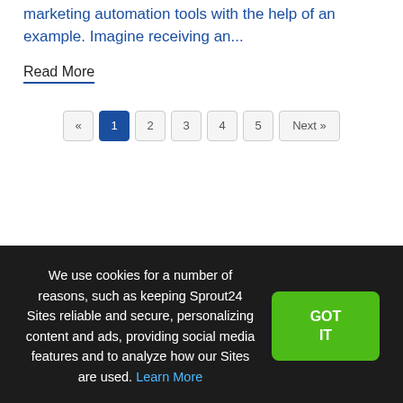marketing automation tools with the help of an example. Imagine receiving an...
Read More
We use cookies for a number of reasons, such as keeping Sprout24 Sites reliable and secure, personalizing content and ads, providing social media features and to analyze how our Sites are used. Learn More
GOT IT